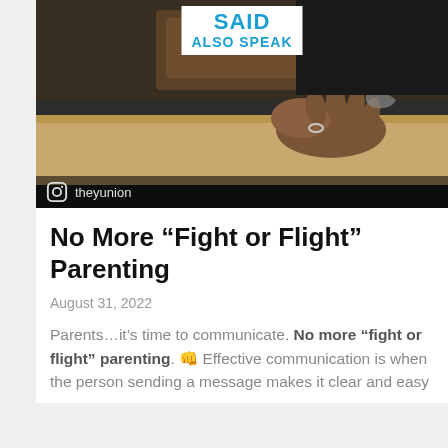[Figure (photo): Video screenshot showing a person's hands resting on a desk/table surface, with a wooden background. A white overlay box at top displays 'SAID' and 'ALSO SPEAK' in bold blue text. An Instagram watermark bar at the bottom reads '@theyunion'.]
No More “Fight or Flight” Parenting
August 31, 2022
Parents…it’s time to communicate. No more “fight or flight” parenting. 👊 Effective communication is when the person sending a message makes it clear and easy